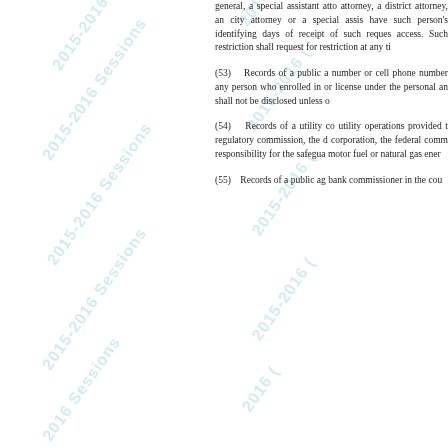general, a special assistant attorney general, a county attorney, a district attorney, an assistant district attorney, a city attorney or a special assistant city attorney shall have such person's identifying information restricted within 10 days of receipt of such request and shall restrict public online access. Such restriction shall expire if the person withdraws the request for restriction at any time.
(53)    Records of a public agency that contain a telephone number or cell phone number, address or other information of any person who enrolled in or who holds a concealed carry license under the personal and family protection act, which shall not be disclosed unless otherwise authorized by law.
(54)    Records of a utility company relating to its utility operations provided to the state corporation commission, the d regulatory commission, the d utility rate division, the state corporation, the federal comm responsibility for the safeguarding motor fuel or natural gas energy
(55)    Records of a public ag bank commissioner in the cou